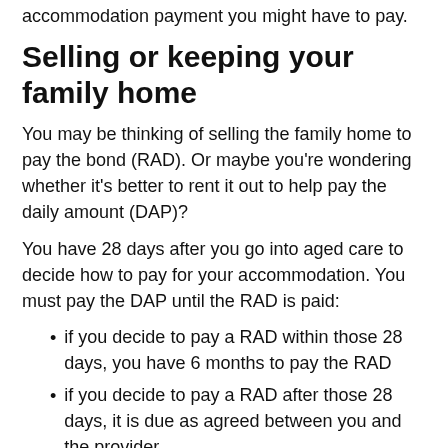accommodation payment you might have to pay.
Selling or keeping your family home
You may be thinking of selling the family home to pay the bond (RAD). Or maybe you're wondering whether it's better to rent it out to help pay the daily amount (DAP)?
You have 28 days after you go into aged care to decide how to pay for your accommodation. You must pay the DAP until the RAD is paid:
if you decide to pay a RAD within those 28 days, you have 6 months to pay the RAD
if you decide to pay a RAD after those 28 days, it is due as agreed between you and the provider
You may need professional financial advice to work out whether selling or renting your home is